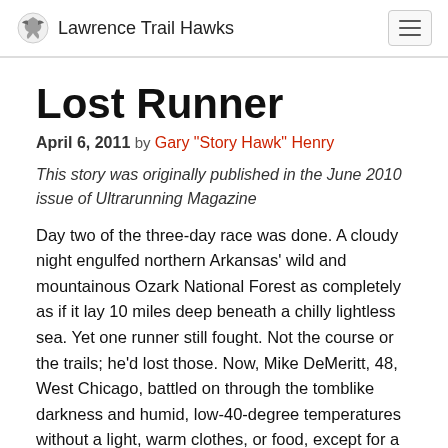Lawrence Trail Hawks
Lost Runner
April 6, 2011 by Gary "Story Hawk" Henry
This story was originally published in the June 2010 issue of Ultrarunning Magazine
Day two of the three-day race was done. A cloudy night engulfed northern Arkansas' wild and mountainous Ozark National Forest as completely as if it lay 10 miles deep beneath a chilly lightless sea. Yet one runner still fought. Not the course or the trails; he'd lost those. Now, Mike DeMeritt, 48, West Chicago, battled on through the tomblike darkness and humid, low-40-degree temperatures without a light, warm clothes, or food, except for a water bottle and a few swigs of honey. It wasn't just darkness he struggled through as he tried to find the trail. Briars, brambles, branches, rocks, roots, ledges, holes, all unseen, tore and tripped the lost runner already aching from the previous day's 50K and the 41 miles he'd completed before losing his way. DeMeritt had entered Northern